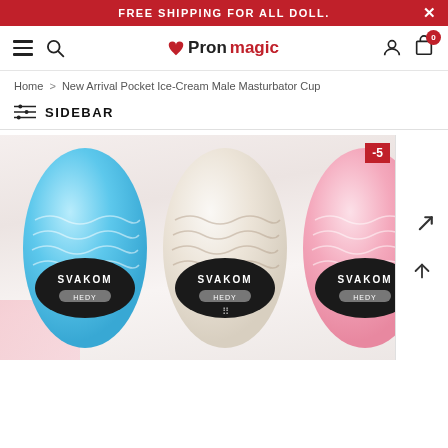FREE SHIPPING FOR ALL DOLL.
[Figure (screenshot): Website navigation bar with hamburger menu, search icon, Pronmagic logo, user icon, and cart icon with badge showing 0]
Home > New Arrival Pocket Ice-Cream Male Masturbator Cup
SIDEBAR
[Figure (photo): Three SVAKOM HEDY masturbator cups in blue, white, and pink colors on white fur background, with a red sale badge showing -5]